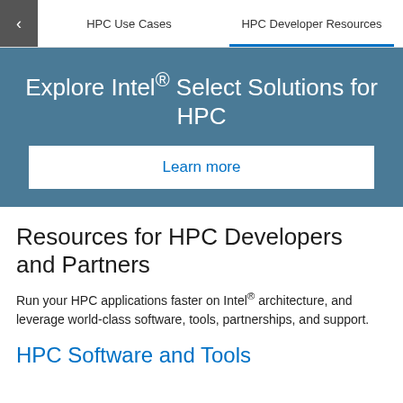HPC Use Cases   HPC Developer Resources
Explore Intel® Select Solutions for HPC
Learn more
Resources for HPC Developers and Partners
Run your HPC applications faster on Intel® architecture, and leverage world-class software, tools, partnerships, and support.
HPC Software and Tools